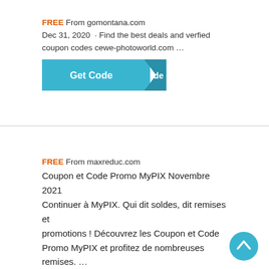FREE From gomontana.com
Dec 31, 2020 · Find the best deals and verfied coupon codes cewe-photoworld.com …
[Figure (screenshot): Get Code button with teal background and dark blue arrow/fold on right side]
FREE From maxreduc.com
Coupon et Code Promo MyPIX Novembre 2021 Continuer à MyPIX. Qui dit soldes, dit remises et promotions ! Découvrez les Coupon et Code Promo MyPIX et profitez de nombreuses remises. …
[Figure (screenshot): Get Code button with teal background and dark blue arrow/fold on right side]
[Figure (other): Blue circular scroll-to-top button with upward chevron arrow]